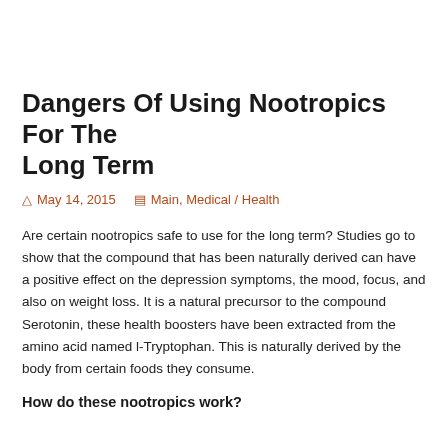Dangers Of Using Nootropics For The Long Term
May 14, 2015   Main, Medical / Health
Are certain nootropics safe to use for the long term? Studies go to show that the compound that has been naturally derived can have a positive effect on the depression symptoms, the mood, focus, and also on weight loss. It is a natural precursor to the compound Serotonin, these health boosters have been extracted from the amino acid named l-Tryptophan. This is naturally derived by the body from certain foods they consume.
How do these nootropics work?